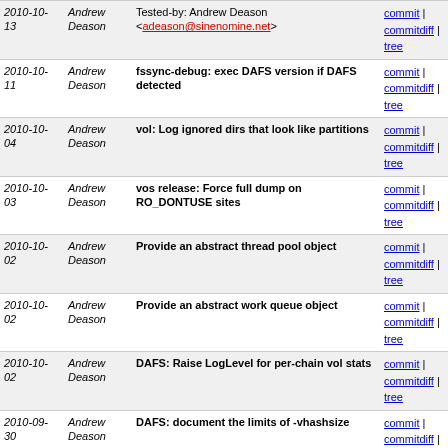| Date | Author | Commit Message | Links |
| --- | --- | --- | --- |
| 2010-10-13 | Andrew Deason | Tested-by: Andrew Deason <adeason@sinenomine.net> | commit | commitdiff | tree |
| 2010-10-11 | Andrew Deason | fssync-debug: exec DAFS version if DAFS detected | commit | commitdiff | tree |
| 2010-10-04 | Andrew Deason | vol: Log ignored dirs that look like partitions | commit | commitdiff | tree |
| 2010-10-03 | Andrew Deason | vos release: Force full dump on RO_DONTUSE sites | commit | commitdiff | tree |
| 2010-10-02 | Andrew Deason | Provide an abstract thread pool object | commit | commitdiff | tree |
| 2010-10-02 | Andrew Deason | Provide an abstract work queue object | commit | commitdiff | tree |
| 2010-10-02 | Andrew Deason | DAFS: Raise LogLevel for per-chain vol stats | commit | commitdiff | tree |
| 2010-09-30 | Andrew Deason | DAFS: document the limits of -vhashsize | commit | commitdiff | tree |
| 2010-09-20 | Andrew Deason | volser: Delete timed-out temporary volumes
Tested-by: Andrew Deason <adeason@sinenomine.net> | commit | commitdiff | tree |
| 2010-09-20 | Andrew Deason | libafs: Fix pioctl get/putInt alignment issues
Tested-by: Andrew Deason <adeason@sinenomine.net> | commit | commitdiff | tree |
| 2010-09-20 | Andrew Deason | libafs: Fix compile errors in afs_nfsclnt.c
Tested-by: Andrew Deason | commit | commitdiff | tree |